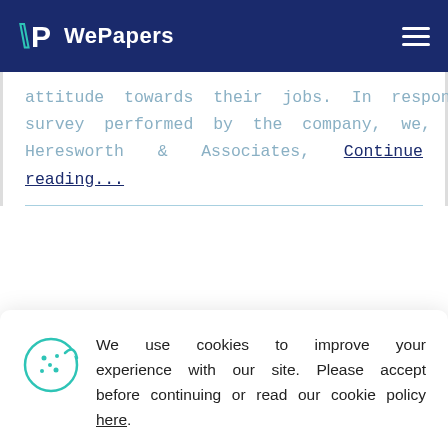WePapers
attitude towards their jobs. In response to the survey performed by the company, we, Rachel Heresworth & Associates, Continue reading...
We use cookies to improve your experience with our site. Please accept before continuing or read our cookie policy here.
ACCEPT
The Employment Relationship Is Viewed Two Perspectives; The Unitarist And Pluralist Perspectives According To (Armstrong 2012). Essays Examples